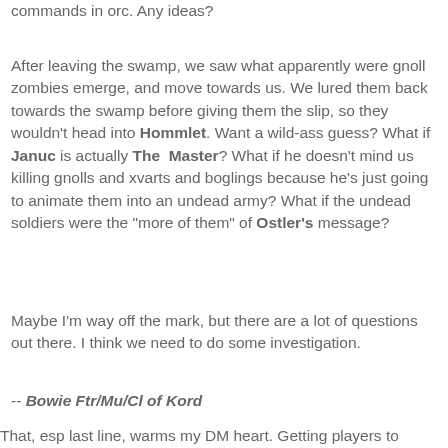commands in orc. Any ideas?
After leaving the swamp, we saw what apparently were gnoll zombies emerge, and move towards us. We lured them back towards the swamp before giving them the slip, so they wouldn't head into Hommlet. Want a wild-ass guess? What if Januc is actually The Master? What if he doesn't mind us killing gnolls and xvarts and boglings because he's just going to animate them into an undead army? What if the undead soldiers were the "more of them" of Ostler's message?
Maybe I'm way off the mark, but there are a lot of questions out there. I think we need to do some investigation.
-- Bowie Ftr/Mu/Cl of Kord
That, esp last line, warms my DM heart. Getting players to